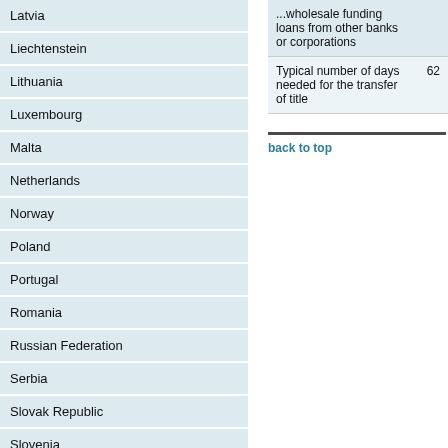Latvia
Liechtenstein
Lithuania
Luxembourg
Malta
Netherlands
Norway
Poland
Portugal
Romania
Russian Federation
Serbia
Slovak Republic
Slovenia
Spain
Sweden
Switzerland
Turkey
|  | Secondary |
| --- | --- |
| ...wholesale funding loans from other banks or corporations |  |
| Typical number of days needed for the transfer of title | 62 |
back to top